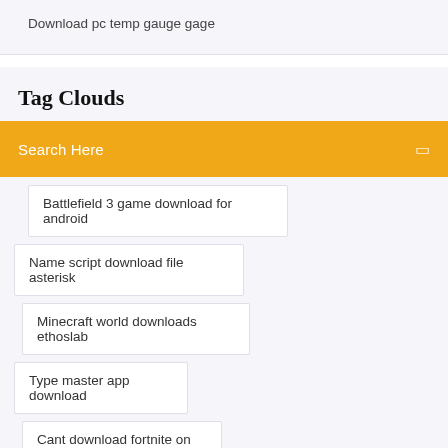Download pc temp gauge gage
Tag Clouds
Search Here
Battlefield 3 game download for android
Name script download file asterisk
Minecraft world downloads ethoslab
Type master app download
Cant download fortnite on ps4
Matlab simulink student version free download
Werewolf w20 storyteller screen pdf download